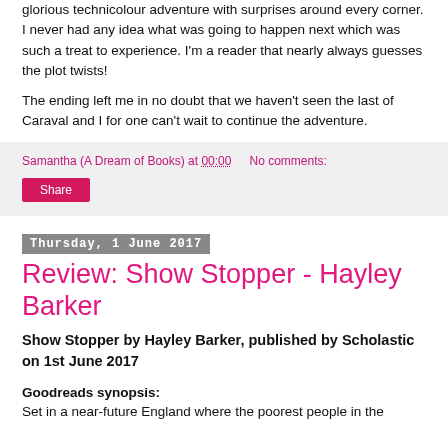glorious technicolour adventure with surprises around every corner. I never had any idea what was going to happen next which was such a treat to experience. I'm a reader that nearly always guesses the plot twists!
The ending left me in no doubt that we haven't seen the last of Caraval and I for one can't wait to continue the adventure.
Samantha (A Dream of Books) at 00:00    No comments:
Share
Thursday, 1 June 2017
Review: Show Stopper - Hayley Barker
Show Stopper by Hayley Barker, published by Scholastic on 1st June 2017
Goodreads synopsis:
Set in a near-future England where the poorest people in the